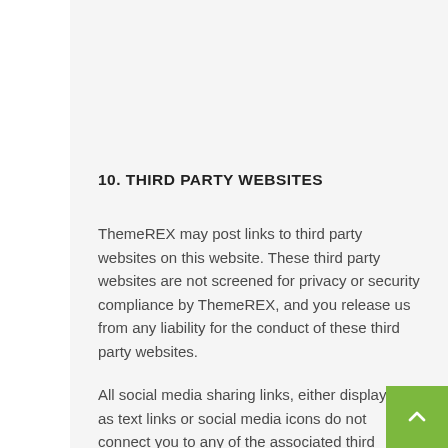10. THIRD PARTY WEBSITES
ThemeREX may post links to third party websites on this website. These third party websites are not screened for privacy or security compliance by ThemeREX, and you release us from any liability for the conduct of these third party websites.
All social media sharing links, either displayed as text links or social media icons do not connect you to any of the associated third parties, unless you explicitly click on them.